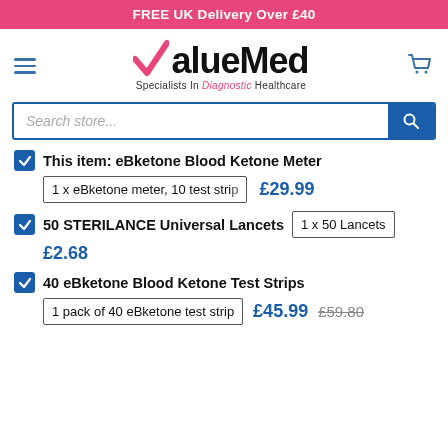FREE UK Delivery Over £40
[Figure (logo): ValueMed logo with pink checkmark and tagline 'Specialists In Diagnostic Healthcare']
Search store...
This item: eBketone Blood Ketone Meter | 1 x eBketone meter, 10 test stri... | £29.99
50 STERILANCE Universal Lancets | 1 x 50 Lancets | £2.68
40 eBketone Blood Ketone Test Strips | 1 pack of 40 eBketone test strip... | £45.99 £59.80